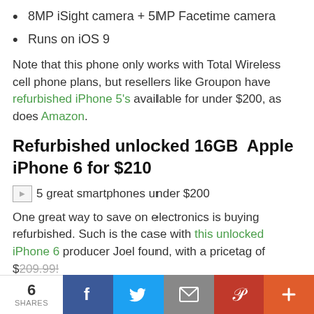8MP iSight camera + 5MP Facetime camera
Runs on iOS 9
Note that this phone only works with Total Wireless cell phone plans, but resellers like Groupon have refurbished iPhone 5's available for under $200, as does Amazon.
Refurbished unlocked 16GB  Apple iPhone 6 for $210
[Figure (other): Thumbnail image placeholder for '5 great smartphones under $200']
One great way to save on electronics is buying refurbished. Such is the case with this unlocked iPhone 6 producer Joel found, with a pricetag of $209.99!